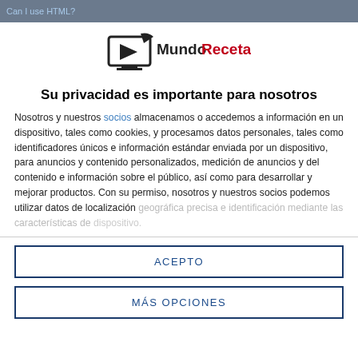Can I use HTML?
[Figure (logo): MundoRecetas logo with monitor icon and red/black text]
Su privacidad es importante para nosotros
Nosotros y nuestros socios almacenamos o accedemos a información en un dispositivo, tales como cookies, y procesamos datos personales, tales como identificadores únicos e información estándar enviada por un dispositivo, para anuncios y contenido personalizados, medición de anuncios y del contenido e información sobre el público, así como para desarrollar y mejorar productos. Con su permiso, nosotros y nuestros socios podemos utilizar datos de localización geográfica precisa e identificación mediante las características de dispositivo.
ACEPTO
MÁS OPCIONES